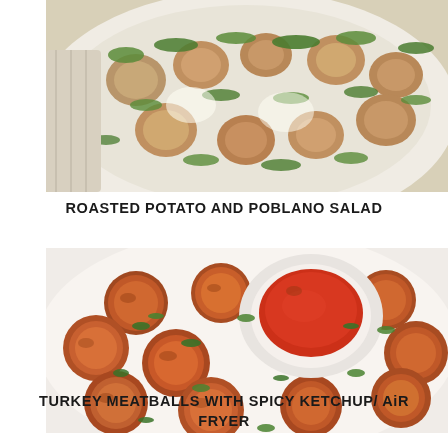[Figure (photo): Overhead photo of roasted potato and poblano salad on a white plate, garnished with fresh herbs and green onions, with a light creamy dressing.]
ROASTED POTATO AND POBLANO SALAD
[Figure (photo): Overhead photo of golden-brown turkey meatballs on a white plate with a bowl of spicy ketchup dipping sauce in the center, garnished with fresh cilantro.]
TURKEY MEATBALLS WITH SPICY KETCHUP/ AiR FRYER